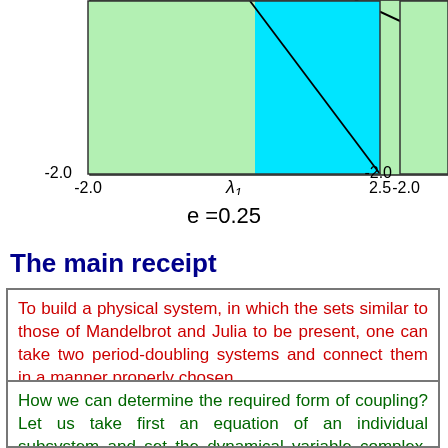[Figure (other): Stability/bifurcation diagram showing colored regions (green and cyan) in λ1 parameter space, with axis labels -2.0, 2.5, -2.0 and λ1 on x-axis]
e =0.25
The main receipt
To build a physical system, in which the sets similar to those of Mandelbrot and Julia to be present, one can take two period-doubling systems and connect them in a manner properly chosen.
How we can determine the required form of coupling? Let us take first an equation of an individual subsystem and set the dynamical variable complex. As well, the control parameter responsible for the period-doubling bifurcation